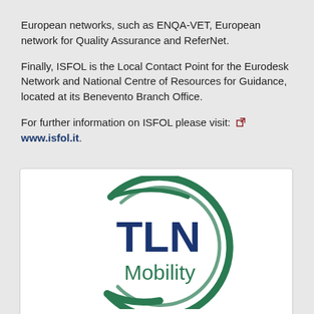European networks, such as ENQA-VET, European network for Quality Assurance and ReferNet.
Finally, ISFOL is the Local Contact Point for the Eurodesk Network and National Centre of Resources for Guidance, located at its Benevento Branch Office.
For further information on ISFOL please visit: www.isfol.it.
[Figure (logo): TLN Mobility logo — a dark green crescent/swoosh arc on the left side with the text 'TLN' in large dark blue bold letters and 'Mobility' in dark green below it, inside a white rounded-rectangle card.]